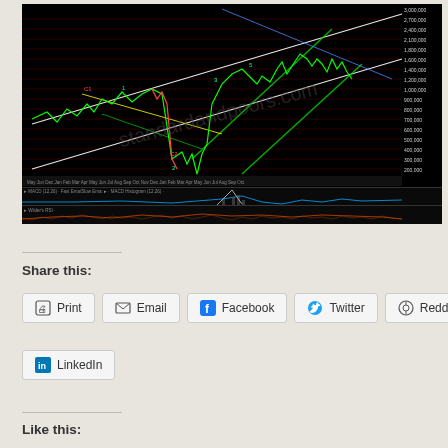[Figure (continuous-plot): Complex stock market technical analysis chart on black background showing price action with Elliott Wave labels, Fibonacci levels, trend channels, MACD indicator, and RSI indicator. Multiple colored lines (green, white, red, yellow, blue) overlaid on candlestick/price data with extensive annotations. Three panels: main price chart, MACD histogram panel, and RSI panel below.]
Share this:
Print
Email
Facebook
Twitter
Reddit
LinkedIn
Like this: